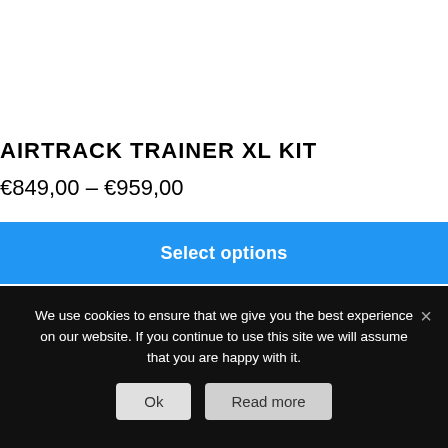AIRTRACK TRAINER XL KIT
€849,00 – €959,00
Select options
We use cookies to ensure that we give you the best experience on our website. If you continue to use this site we will assume that you are happy with it.
Ok
Read more